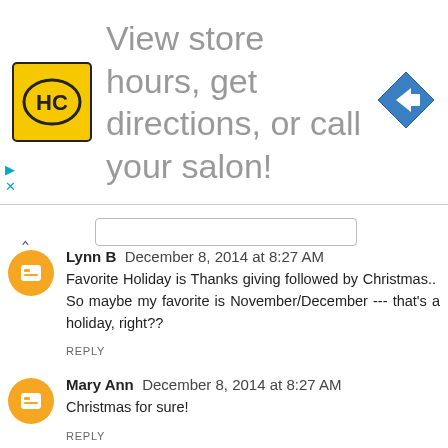[Figure (other): Advertisement banner: HC logo (yellow square with HC text), text 'View store hours, get directions, or call your salon!', blue diamond arrow icon on right. Play and close controls at bottom left.]
Lynn B  December 8, 2014 at 8:27 AM
Favorite Holiday is Thanks giving followed by Christmas..  So maybe my favorite is November/December --- that's a holiday, right??
REPLY
Mary Ann  December 8, 2014 at 8:27 AM
Christmas for sure!
REPLY
Maxine  December 8, 2014 at 8:27 AM
Christmas is my favorite holiday!
REPLY